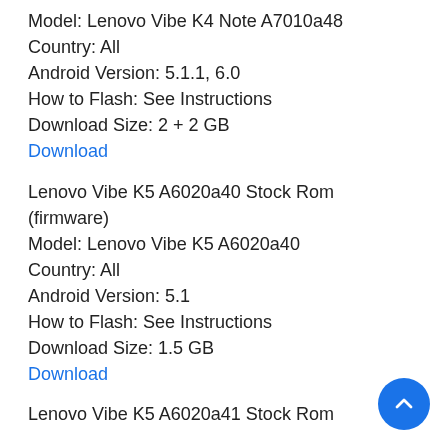Model: Lenovo Vibe K4 Note A7010a48
Country: All
Android Version: 5.1.1, 6.0
How to Flash: See Instructions
Download Size: 2 + 2 GB
Download
Lenovo Vibe K5 A6020a40 Stock Rom (firmware)
Model: Lenovo Vibe K5 A6020a40
Country: All
Android Version: 5.1
How to Flash: See Instructions
Download Size: 1.5 GB
Download
Lenovo Vibe K5 A6020a41 Stock Rom